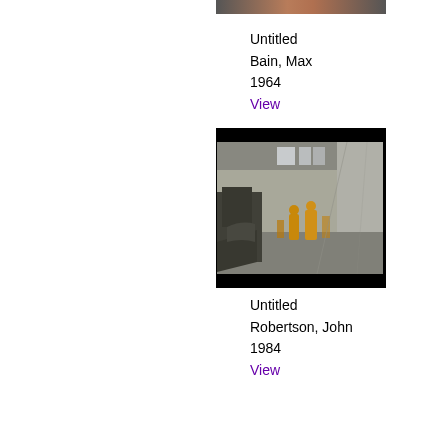[Figure (photo): Partial view of a portrait painting cropped at top, showing face/skin tones against dark background. Artwork by Max Bain, 1964.]
Untitled
Bain, Max
1964
View
[Figure (photo): Painting of an industrial factory interior with workers in yellow protective suits. Dark borders top and bottom. Artwork by John Robertson, 1984.]
Untitled
Robertson, John
1984
View